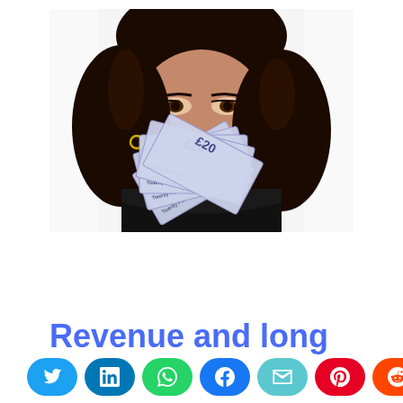[Figure (photo): A woman with dark curly hair holding up a fan of £20 British pound banknotes covering the lower half of her face, with only her eyes visible above the notes. White background.]
Revenue and long
Social share buttons: Twitter, LinkedIn, WhatsApp, Facebook, Email, Pinterest, Reddit